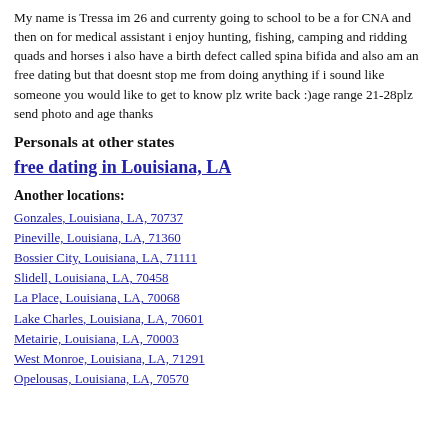My name is Tressa im 26 and currenty going to school to be a for CNA and then on for medical assistant i enjoy hunting, fishing, camping and ridding quads and horses i also have a birth defect called spina bifida and also am an free dating but that doesnt stop me from doing anything if i sound like someone you would like to get to know plz write back :)age range 21-28plz send photo and age thanks
Personals at other states
free dating in Louisiana, LA
Another locations:
Gonzales, Louisiana, LA, 70737
Pineville, Louisiana, LA, 71360
Bossier City, Louisiana, LA, 71111
Slidell, Louisiana, LA, 70458
La Place, Louisiana, LA, 70068
Lake Charles, Louisiana, LA, 70601
Metairie, Louisiana, LA, 70003
West Monroe, Louisiana, LA, 71291
Opelousas, Louisiana, LA, 70570